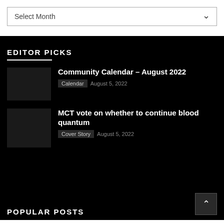Select Month
EDITOR PICKS
Community Calendar – August 2022
Calendar   August 5, 2022
MCT vote on whether to continue blood quantum
Cover Story   August 5, 2022
POPULAR POSTS